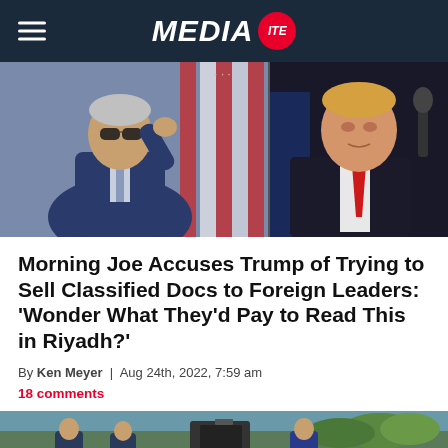MEDIA ITE
[Figure (photo): Two side-by-side photos: left shows Biden in sunglasses and blue suit gesturing; right shows Trump in dark suit with red tie against a dark background.]
Morning Joe Accuses Trump of Trying to Sell Classified Docs to Foreign Leaders: 'Wonder What They'd Pay to Read This in Riyadh?'
By Ken Meyer | Aug 24th, 2022, 7:59 am
18 comments
[Figure (photo): Bottom partial image showing a TV news set with news anchors and on-screen graphics.]